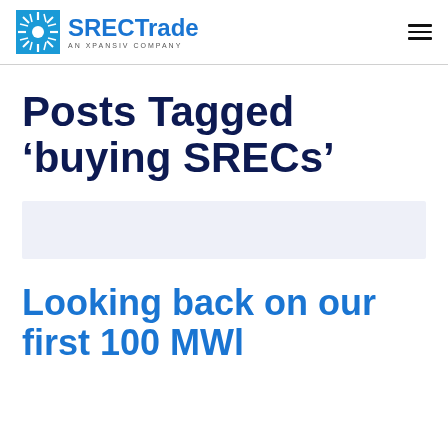SRECTrade AN XPANSIV COMPANY
Posts Tagged ‘buying SRECs’
[Figure (other): Light blue/gray rectangular banner advertisement area]
Looking back on our first 100 MWl